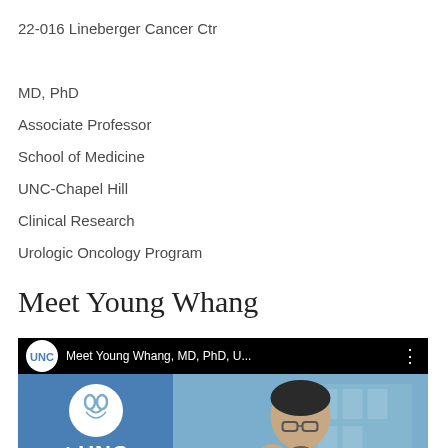22-016 Lineberger Cancer Ctr
MD, PhD
Associate Professor
School of Medicine
UNC-Chapel Hill
Clinical Research
Urologic Oncology Program
Meet Young Whang
[Figure (screenshot): YouTube-style video thumbnail for 'Meet Young Whang, MD, PhD, U...' showing UNC Lineberger Comprehensive Cancer Center branding on blue left panel with logo and text, and a photo of Young Whang on the right panel. A play button is visible at the bottom center.]